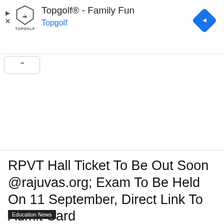[Figure (other): Topgolf advertisement banner with logo, title 'Topgolf® - Family Fun', brand name 'Topgolf' in blue, and a navigation diamond icon]
[Figure (other): Collapse/chevron-up button below the ad banner]
RPVT Hall Ticket To Be Out Soon @rajuvas.org; Exam To Be Held On 11 September, Direct Link To Admit Card
Education News